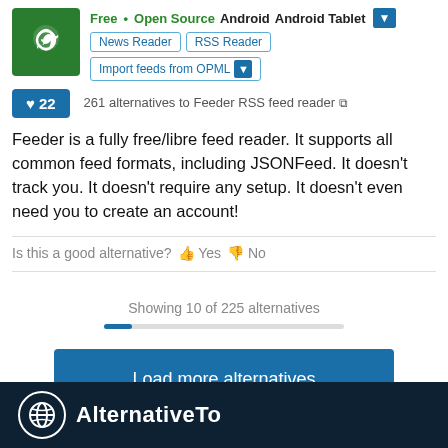[Figure (logo): Green Android app icon for Feeder RSS reader]
Free • Open Source   Android   Android Tablet
News Reader   RSS Reader   Import feeds from OPML
♥ 22
261 alternatives to Feeder RSS feed reader
Feeder is a fully free/libre feed reader. It supports all common feed formats, including JSONFeed. It doesn't track you. It doesn't require any setup. It doesn't even need you to create an account!
Is this a good alternative? 👍 Yes 👎 No
Showing 10 of 225 alternatives
Load more alternatives
[Figure (logo): AlternativeTo footer logo and brand name on dark navy background]